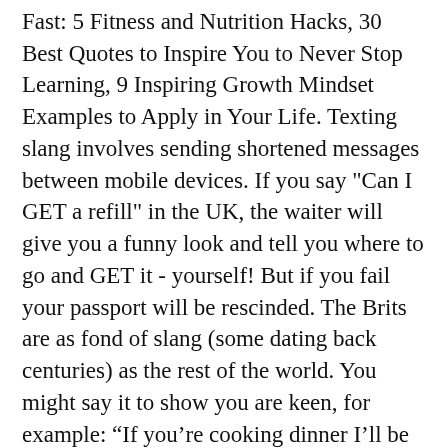Fast: 5 Fitness and Nutrition Hacks, 30 Best Quotes to Inspire You to Never Stop Learning, 9 Inspiring Growth Mindset Examples to Apply in Your Life. Texting slang involves sending shortened messages between mobile devices. If you say "Can I GET a refill" in the UK, the waiter will give you a funny look and tell you where to go and GET it - yourself! But if you fail your passport will be rescinded. The Brits are as fond of slang (some dating back centuries) as the rest of the world. You might say it to show you are keen, for example: “If you’re cooking dinner I’ll be there in a jiffy.” K. Knees up – if someone says they went to “a right knees-up over the weekend” ... I expect you are now fluent in British slang. Thanks for your answers in advance. "Hi there! Guest post by Claire Bolden McGill: 10 British Words for âMaking Outâ 1. Past Last edited on Apr 08 2013. Aggro: Aggressive/in someoneâs face. Still giving you gyp?" Speaking of which... Gyp While American slang uses gyp